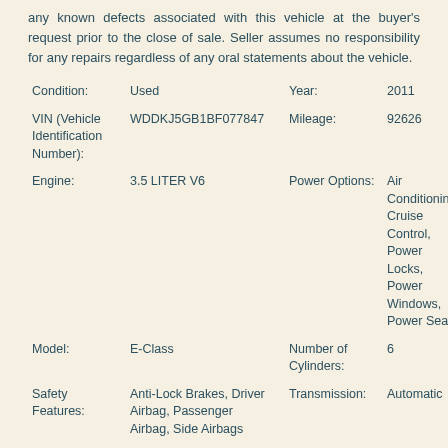any known defects associated with this vehicle at the buyer's request prior to the close of sale. Seller assumes no responsibility for any repairs regardless of any oral statements about the vehicle.
| Field | Value | Field | Value |
| --- | --- | --- | --- |
| Condition: | Used | Year: | 2011 |
| VIN (Vehicle Identification Number): | WDDKJ5GB1BF077847 | Mileage: | 92626 |
| Engine: | 3.5 LITER V6 | Power Options: | Air Conditioning, Cruise Control, Power Locks, Power Windows, Power Seats |
| Model: | E-Class | Number of Cylinders: | 6 |
| Safety Features: | Anti-Lock Brakes, Driver Airbag, Passenger Airbag, Side Airbags | Transmission: | Automatic |